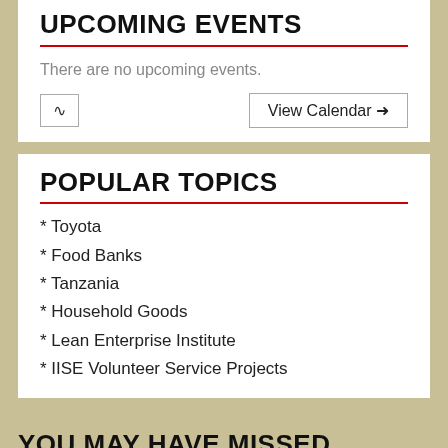UPCOMING EVENTS
There are no upcoming events.
POPULAR TOPICS
* Toyota
* Food Banks
* Tanzania
* Household Goods
* Lean Enterprise Institute
* IISE Volunteer Service Projects
YOU MAY HAVE MISSED
[Figure (photo): Government building with classical architecture and a flag]
[Figure (screenshot): Partial text reading 'Practio Innovat in Government']